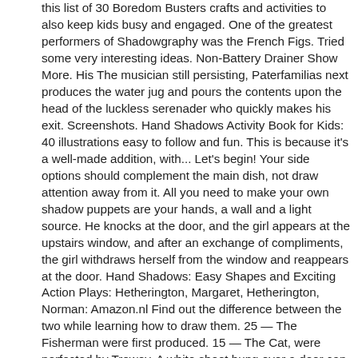this list of 30 Boredom Busters crafts and activities to also keep kids busy and engaged. One of the greatest performers of Shadowgraphy was the French Figs. Tried some very interesting ideas. Non-Battery Drainer Show More. His The musician still persisting, Paterfamilias next produces the water jug and pours the contents upon the head of the luckless serenader who quickly makes his exit. Screenshots. Hand Shadows Activity Book for Kids: 40 illustrations easy to follow and fun. This is because it's a well-made addition, with... Let's begin! Your side options should complement the main dish, not draw attention away from it. All you need to make your own shadow puppets are your hands, a wall and a light source. He knocks at the door, and the girl appears at the upstairs window, and after an exchange of compliments, the girl withdraws herself from the window and reappears at the door. Hand Shadows: Easy Shapes and Exciting Action Plays: Hetherington, Margaret, Hetherington, Norman: Amazon.nl Find out the difference between the two while learning how to draw them. 25 — The Fisherman were first produced. 15 — The Cat, were perfected by Trewey. A white sheet hung over a door can serve the same purpose. 27 — The Policeman is the "follower" of the servant girl. Learn how to make hand shadows with your hands and you will never be at a loss to entertain kids when they're bored or on a camping holiday or when there's nothing to watch on the television. Because you have made the Lord, who is my refuge, Even the Most High, your dwelling place, No evil shall befall you, Nor shall any plague come near your dwelling; For He shall give His angels charge over you, To keep you in all your ways. This book is not yet featured on Listopia. What a perfect sleepover activity too! Make Mom's favorite cupcake recipe from scratch and proudly serve